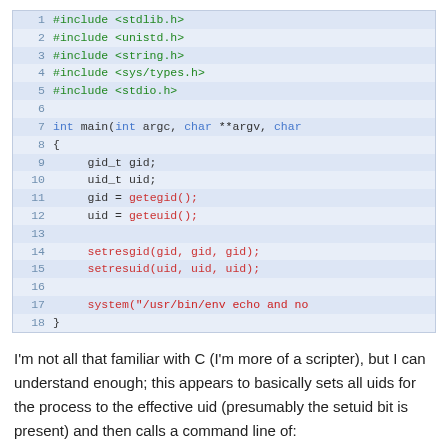[Figure (screenshot): Syntax-highlighted C code block, lines 1–18, showing #include directives, main function signature, gid/uid variable declarations, getegid/geteuid calls, setresgid/setresuid calls, and a system() call with a string argument.]
I'm not all that familiar with C (I'm more of a scripter), but I can understand enough; this appears to basically sets all uids for the process to the effective uid (presumably the setuid bit is present) and then calls a command line of:
/usr/bin/env echo and now what?